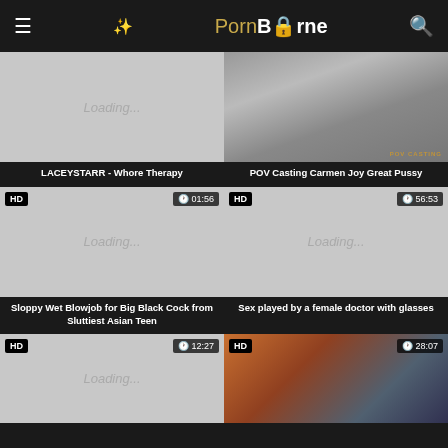PornBOrne
[Figure (screenshot): Video thumbnail loading placeholder for LACEYSTARR - Whore Therapy]
LACEYSTARR - Whore Therapy
[Figure (photo): Video thumbnail image for POV Casting Carmen Joy Great Pussy, with watermark POV CASTING]
POV Casting Carmen Joy Great Pussy
[Figure (screenshot): HD video thumbnail loading placeholder, duration 01:56, Sloppy Wet Blowjob for Big Black Cock from Sluttiest Asian Teen]
Sloppy Wet Blowjob for Big Black Cock from Sluttiest Asian Teen
[Figure (screenshot): HD video thumbnail loading placeholder, duration 56:53, Sex played by a female doctor with glasses]
Sex played by a female doctor with glasses
[Figure (screenshot): HD video thumbnail loading placeholder, duration 12:27]
[Figure (photo): HD video thumbnail image, duration 28:07, gym sex scene]